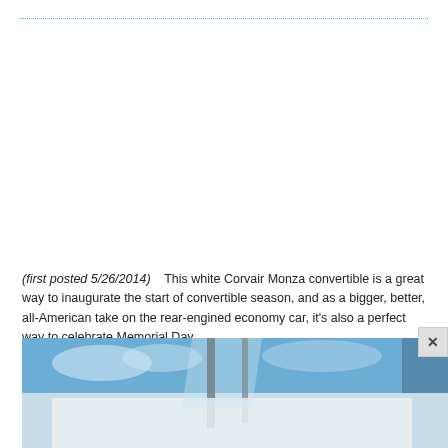(first posted 5/26/2014)    This white Corvair Monza convertible is a great way to inaugurate the start of convertible season, and as a bigger, better, all-American take on the rear-engined economy car, it's also a perfect way to celebrate Memorial Day.
[Figure (photo): Partial view of a white Corvair Monza convertible with blue sky background, image cropped at bottom of page]